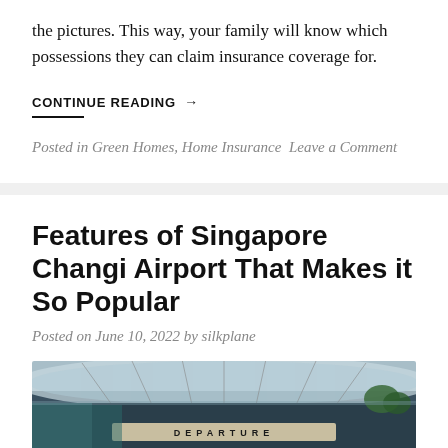the pictures. This way, your family will know which possessions they can claim insurance coverage for.
CONTINUE READING →
Posted in Green Homes, Home Insurance  Leave a Comment
Features of Singapore Changi Airport That Makes it So Popular
Posted on June 10, 2022 by silkplane
[Figure (photo): Photograph of Singapore Changi Airport departure terminal entrance with large curved glass canopy and DEPARTURE sign]